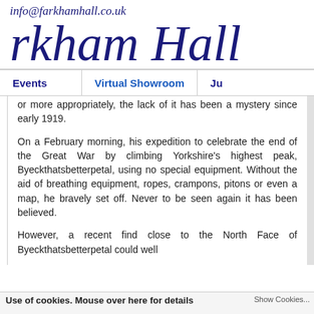info@farkhamhall.co.uk
rkham Hall
Events | Virtual Showroom | Ju
or more appropriately, the lack of it has been a mystery since early 1919.
On a February morning, his expedition to celebrate the end of the Great War by climbing Yorkshire's highest peak, Byeckthatsbetterpetal, using no special equipment. Without the aid of breathing equipment, ropes, crampons, pitons or even a map, he bravely set off. Never to be seen again it has been believed.
However, a recent find close to the North Face of Byeckthatsbetterpetal could well
Use of cookies. Mouse over here for details